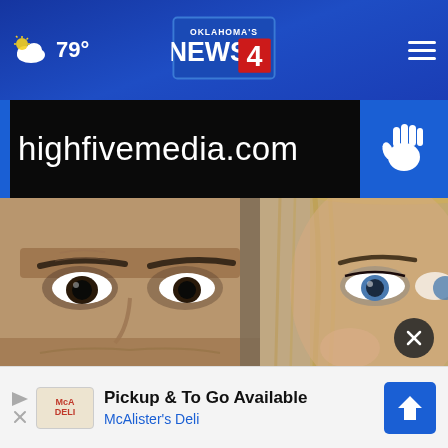79° | Oklahoma's News 4
[Figure (logo): Oklahoma's News 4 logo — blue rectangle with red 4 and white text]
[Figure (infographic): highfivemedia.com banner on black background with blue vertical bar on left and blue hand icon on right]
[Figure (photo): Close-up mugshot-style photo of two people: a man on the left with dark eyes and a woman on the right with blonde hair and blue eyes]
[Figure (infographic): Advertisement: Pickup & To Go Available, McAlister's Deli, with logo and blue arrow button]